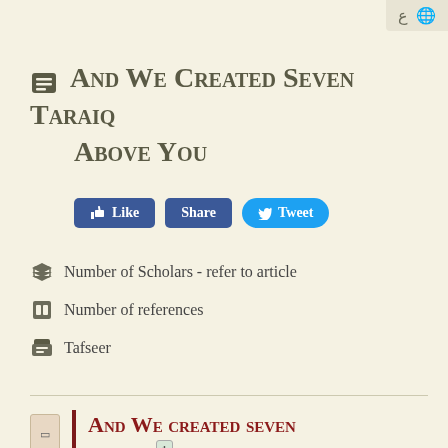And We Created Seven Taraiq Above You
Number of Scholars - refer to article
Number of references
Tafseer
And We created seven Taraiq [1] above you, and We were never neglectful of the creation.